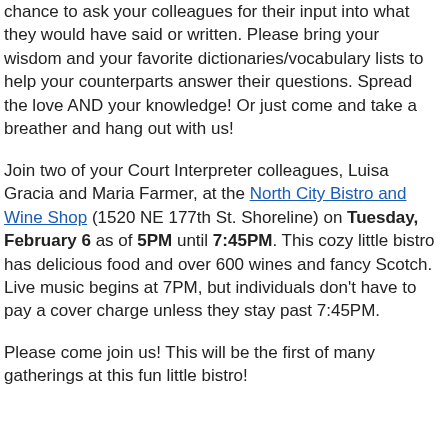chance to ask your colleagues for their input into what they would have said or written. Please bring your wisdom and your favorite dictionaries/vocabulary lists to help your counterparts answer their questions. Spread the love AND your knowledge! Or just come and take a breather and hang out with us!
Join two of your Court Interpreter colleagues, Luisa Gracia and Maria Farmer, at the North City Bistro and Wine Shop (1520 NE 177th St. Shoreline) on Tuesday, February 6 as of 5PM until 7:45PM. This cozy little bistro has delicious food and over 600 wines and fancy Scotch. Live music begins at 7PM, but individuals don't have to pay a cover charge unless they stay past 7:45PM.
Please come join us! This will be the first of many gatherings at this fun little bistro!